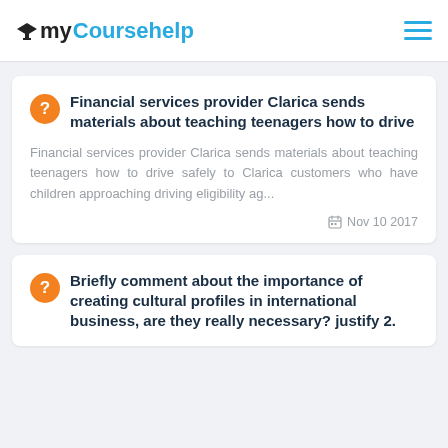myCoursehelp
Financial services provider Clarica sends materials about teaching teenagers how to drive
Financial services provider Clarica sends materials about teaching teenagers how to drive safely to Clarica customers who have children approaching driving eligibility ag...
Nov 10 2017
Briefly comment about the importance of creating cultural profiles in international business, are they really necessary? justify 2.